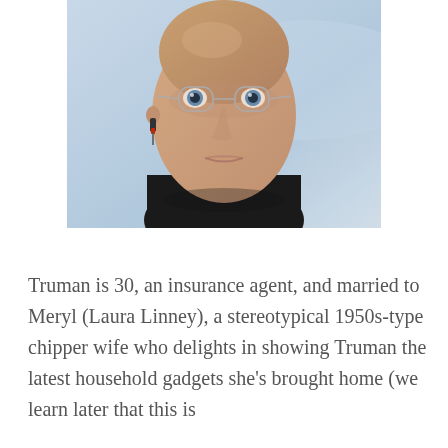[Figure (photo): Close-up photo of a bald man with round wire-framed glasses and a small earpiece/headset device on his left ear, wearing a black turtleneck, against a blurred light blue background. The man has a neutral, intense expression.]
Truman is 30, an insurance agent, and married to Meryl (Laura Linney), a stereotypical 1950s-type chipper wife who delights in showing Truman the latest household gadgets she's brought home (we learn later that this is